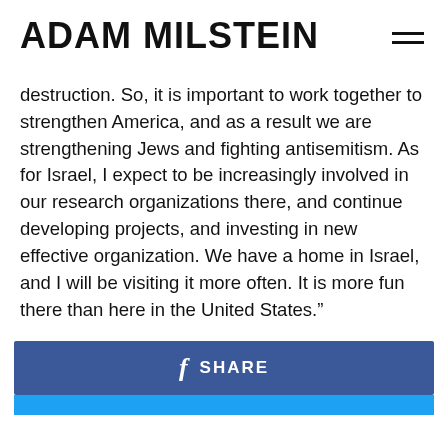ADAM MILSTEIN
destruction. So, it is important to work together to strengthen America, and as a result we are strengthening Jews and fighting antisemitism. As for Israel, I expect to be increasingly involved in our research organizations there, and continue developing projects, and investing in new effective organization. We have a home in Israel, and I will be visiting it more often. It is more fun there than here in the United States.”
SHARE